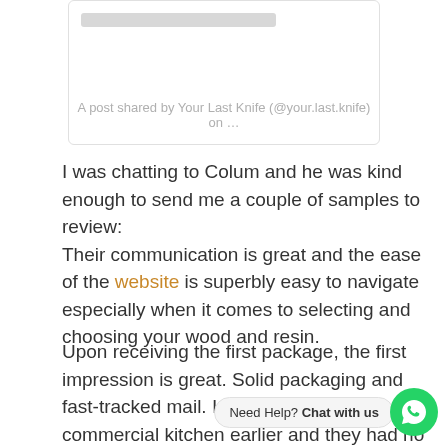[Figure (screenshot): Instagram embed placeholder with grey bar at top and caption text at bottom]
A post shared by Your Last Knife (@your.last.knife) on …
I was chatting to Colum and he was kind enough to send me a couple of samples to review:
Their communication is great and the ease of the website is superbly easy to navigate especially when it comes to selecting and choosing your wood and resin.
Upon receiving the first package, the first impression is great. Solid packaging and fast-tracked mail. I trialed them in a commercial kitchen earlier and they had no prob getting through the bigger
A quick hone on the steel and it brings the edge right back, good as new! The knives feel good in your hand, really